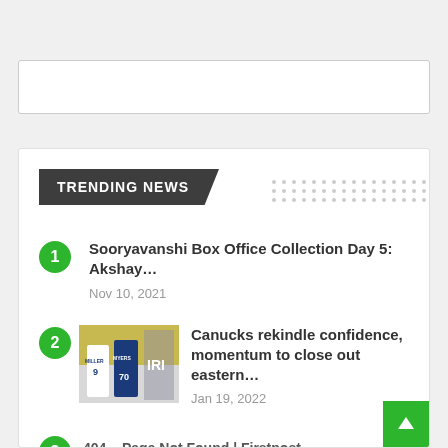[Figure (other): Search bar input field, white rectangle with border]
TRENDING NEWS
Sooryavanshi Box Office Collection Day 5: Akshay… — Nov 10, 2021
Canucks rekindle confidence, momentum to close out eastern… — Jan 19, 2022
404 – Page Not Found | Firstpost